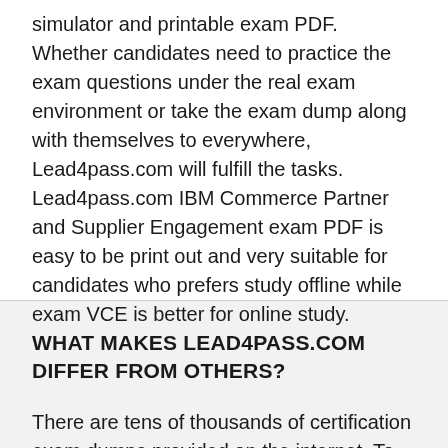simulator and printable exam PDF. Whether candidates need to practice the exam questions under the real exam environment or take the exam dump along with themselves to everywhere, Lead4pass.com will fulfill the tasks. Lead4pass.com IBM Commerce Partner and Supplier Engagement exam PDF is easy to be print out and very suitable for candidates who prefers study offline while exam VCE is better for online study.
WHAT MAKES LEAD4PASS.COM DIFFER FROM OTHERS?
There are tens of thousands of certification exam dumps provided on the internet. To keep the exam dumps valid,